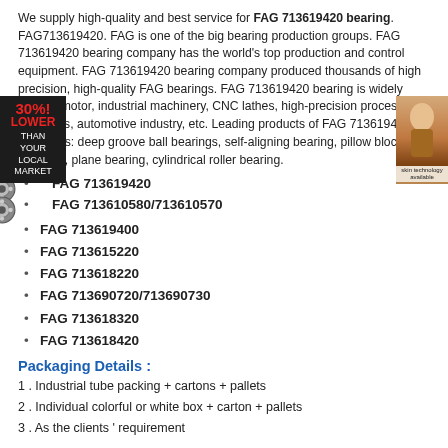We supply high-quality and best service for FAG 713619420 bearing. FAG713619420. FAG is one of the big bearing production groups. FAG 713619420 bearing company has the world's top production and control equipment. FAG 713619420 bearing company produced thousands of high precision, high-quality FAG bearings. FAG 713619420 bearing is widely used in motor, industrial machinery, CNC lathes, high-precision processing machines, automotive industry, etc. Leading products of FAG 713619420 bearing is: deep groove ball bearings, self-aligning bearing, pillow block bearings, plane bearing, cylindrical roller bearing.
FAG 713619420
FAG 713610580/713610570
FAG 713619400
FAG 713615220
FAG 713618220
FAG 713690720/713690730
FAG 713618320
FAG 713618420
Packaging Details :
1 . Industrial tube packing + cartons + pallets
2 . Individual colorful or white box + carton + pallets
3 . As the clients ' requirement